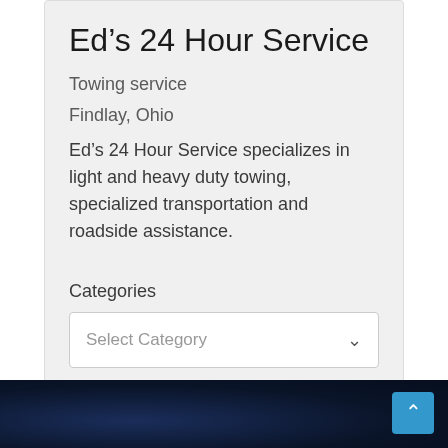Ed’s 24 Hour Service
Towing service
Findlay, Ohio
Ed’s 24 Hour Service specializes in light and heavy duty towing, specialized transportation and roadside assistance.
Categories
Select Category